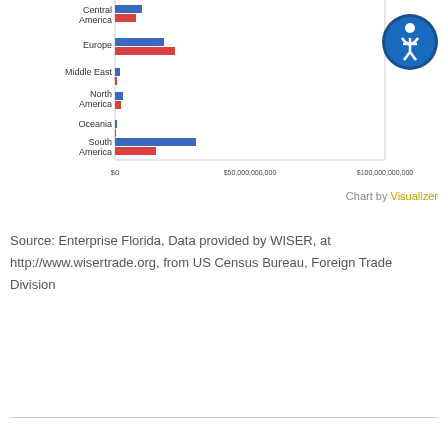[Figure (grouped-bar-chart): Trade by World Region]
Chart by Visualizer
Source: Enterprise Florida, Data provided by WISER, at http://www.wisertrade.org, from US Census Bureau, Foreign Trade Division